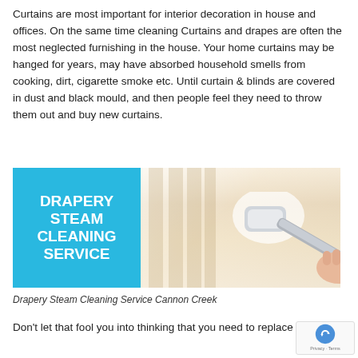Curtains are most important for interior decoration in house and offices. On the same time cleaning Curtains and drapes are often the most neglected furnishing in the house. Your home curtains may be hanged for years, may have absorbed household smells from cooking, dirt, cigarette smoke etc. Until curtain & blinds are covered in dust and black mould, and then people feel they need to throw them out and buy new curtains.
[Figure (photo): Drapery Steam Cleaning Service promotional image with blue panel on the left showing text 'DRAPERY STEAM CLEANING SERVICE' in white bold uppercase letters, and a photo on the right of a person's hand holding a steam cleaner wand against hanging curtains.]
Drapery Steam Cleaning Service Cannon Creek
Don't let that fool you into thinking that you need to replace